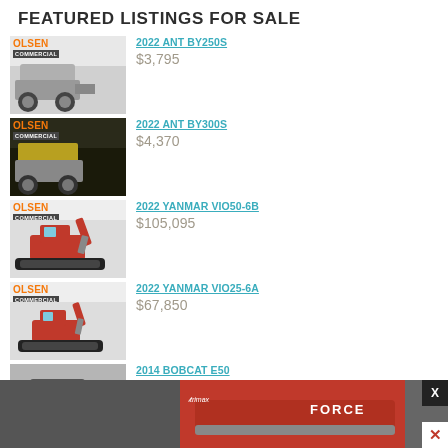FEATURED LISTINGS FOR SALE
2022 ANT BY250S | $3,795
2022 ANT BY300S | $4,370
2022 YANMAR VIO50-6B | $105,095
2022 YANMAR VIO25-6A | $67,850
2014 BOBCAT E50 | $57,500
[Figure (photo): Advertisement banner for Trimax FORCE mowing attachment, red machinery on dark background]